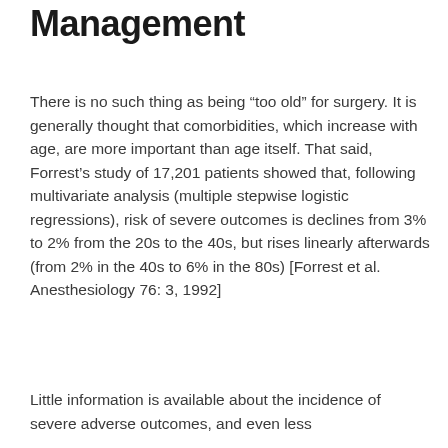Management
There is no such thing as being “too old” for surgery. It is generally thought that comorbidities, which increase with age, are more important than age itself. That said, Forrest’s study of 17,201 patients showed that, following multivariate analysis (multiple stepwise logistic regressions), risk of severe outcomes is declines from 3% to 2% from the 20s to the 40s, but rises linearly afterwards (from 2% in the 40s to 6% in the 80s) [Forrest et al. Anesthesiology 76: 3, 1992]
Little information is available about the incidence of severe adverse outcomes, and even less